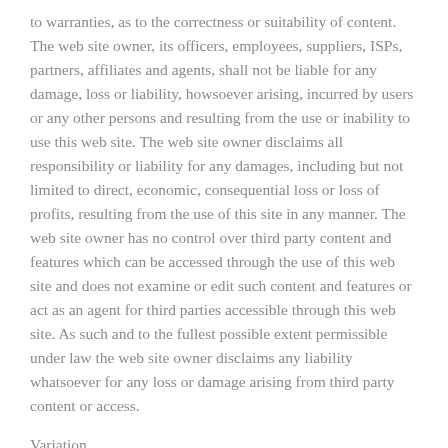to warranties, as to the correctness or suitability of content. The web site owner, its officers, employees, suppliers, ISPs, partners, affiliates and agents, shall not be liable for any damage, loss or liability, howsoever arising, incurred by users or any other persons and resulting from the use or inability to use this web site. The web site owner disclaims all responsibility or liability for any damages, including but not limited to direct, economic, consequential loss or loss of profits, resulting from the use of this site in any manner. The web site owner has no control over third party content and features which can be accessed through the use of this web site and does not examine or edit such content and features or act as an agent for third parties accessible through this web site. As such and to the fullest possible extent permissible under law the web site owner disclaims any liability whatsoever for any loss or damage arising from third party content or access.
Variation
Asetos Computers may, at its sole discretion change this agreement, or any part thereof, at any time without notice.